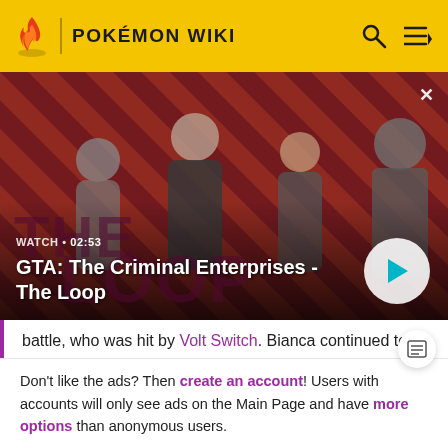POKÉMON WIKI
[Figure (screenshot): Video thumbnail for GTA: The Criminal Enterprises - The Loop. Shows four characters on a diagonal red and dark striped background. Text overlay: WATCH • 02:53, GTA: The Criminal Enterprises - The Loop. Play button visible bottom right.]
battle, who was hit by Volt Switch. Bianca continued to
Don't like the ads? Then create an account! Users with accounts will only see ads on the Main Page and have more options than anonymous users.